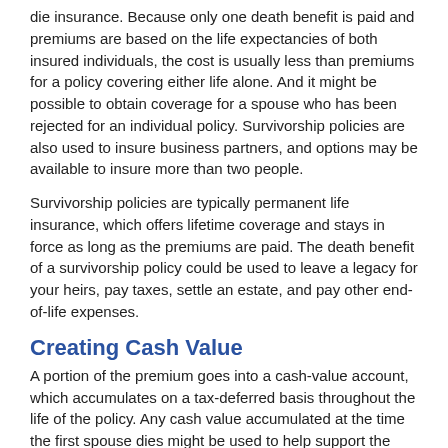die insurance. Because only one death benefit is paid and premiums are based on the life expectancies of both insured individuals, the cost is usually less than premiums for a policy covering either life alone. And it might be possible to obtain coverage for a spouse who has been rejected for an individual policy. Survivorship policies are also used to insure business partners, and options may be available to insure more than two people.
Survivorship policies are typically permanent life insurance, which offers lifetime coverage and stays in force as long as the premiums are paid. The death benefit of a survivorship policy could be used to leave a legacy for your heirs, pay taxes, settle an estate, and pay other end-of-life expenses.
Creating Cash Value
A portion of the premium goes into a cash-value account, which accumulates on a tax-deferred basis throughout the life of the policy. Any cash value accumulated at the time the first spouse dies might be used to help support the surviving spouse. The cash value could also be tapped through loans or withdrawals while both spouses are alive and used for emergency expenses or to supplement retirement income.
Withdrawals of the accumulated cash value, up to the amount of the premiums paid, are not subject to income tax. Loans are also free of